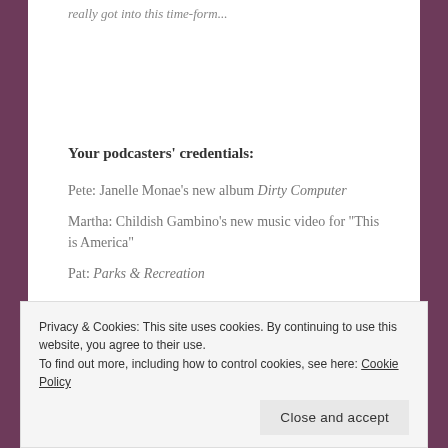really got into this time-form...
Your podcasters' credentials:
Pete: Janelle Monae's new album Dirty Computer
Martha: Childish Gambino's new music video for "This is America"
Pat: Parks & Recreation
For the first time both Martha AND Pete have projects...
Privacy & Cookies: This site uses cookies. By continuing to use this website, you agree to their use.
To find out more, including how to control cookies, see here: Cookie Policy
Close and accept